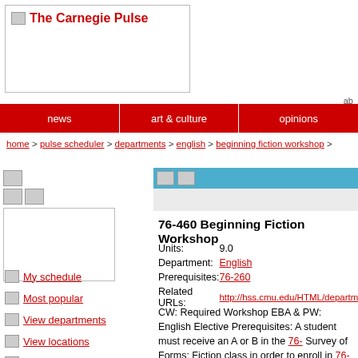The Carnegie Pulse
news | art & culture | opinions
home > pulse scheduler > departments > english > beginning fiction workshop >
My schedule
Most popular
View departments
View locations
View times
Find course by title:
76-460 Beginning Fiction Workshop
| Field | Value |
| --- | --- |
| Units: | 9.0 |
| Department: | English |
| Prerequisites: | 76-260 |
| Related URLs: | http://hss.cmu.edu/HTML/departments/engl |
CW: Required Workshop EBA & PW: English Elective Prerequisites: A student must receive an A or B in the 76- Survey of Forms: Fiction class in order to enroll in 76-460 student who received a C in 76-260 may enroll in 76-460 with the permission of the 76-460 professor. A student who received a D or R in 76-260 may not enroll in 76-460. A fiction workshop is designed to develop students' analytic